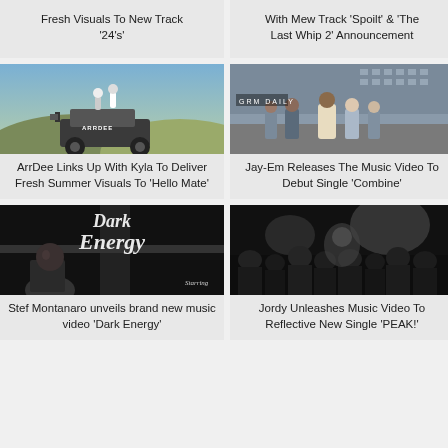Fresh Visuals To New Track '24's'
With Mew Track 'Spoilt' & 'The Last Whip 2' Announcement
[Figure (photo): ArrDee music video still showing people on top of a jeep in a desert/outdoor setting]
[Figure (photo): Jay-Em music video still showing group of men standing outside near a building, GRM Daily watermark visible]
ArrDee Links Up With Kyla To Deliver Fresh Summer Visuals To 'Hello Mate'
Jay-Em Releases The Music Video To Debut Single 'Combine'
[Figure (photo): Stef Montanaro 'Dark Energy' music video still - black and white with script lettering]
[Figure (photo): Jordy music video still - dark crowd scene in black and white]
Stef Montanaro unveils brand new music video 'Dark Energy'
Jordy Unleashes Music Video To Reflective New Single 'PEAK!'